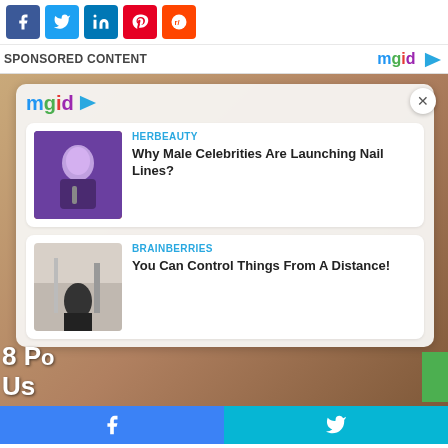[Figure (other): Social media share buttons: Facebook, Twitter, LinkedIn, Pinterest, Reddit]
SPONSORED CONTENT
[Figure (screenshot): MGID sponsored content widget showing two article cards: 1) HERBEAUTY - Why Male Celebrities Are Launching Nail Lines? with image of man with microphone; 2) BRAINBERRIES - You Can Control Things From A Distance! with image of person sitting]
[Figure (other): Bottom share bar with Facebook and Twitter icons]